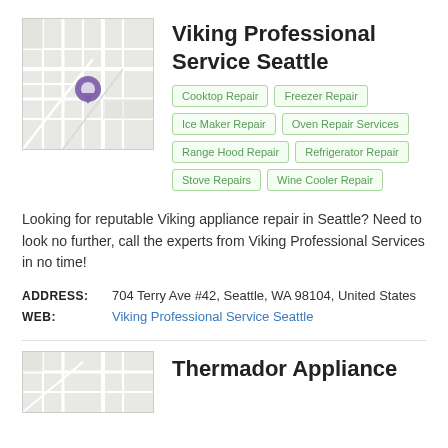[Figure (map): Map thumbnail showing Seattle location with purple pin marker]
Viking Professional Service Seattle
Cooktop Repair
Freezer Repair
Ice Maker Repair
Oven Repair Services
Range Hood Repair
Refrigerator Repair
Stove Repairs
Wine Cooler Repair
Looking for reputable Viking appliance repair in Seattle? Need to look no further, call the experts from Viking Professional Services in no time!
ADDRESS:   704 Terry Ave #42, Seattle, WA 98104, United States
WEB:   Viking Professional Service Seattle
[Figure (map): Map thumbnail for Thermador Appliance listing]
Thermador Appliance